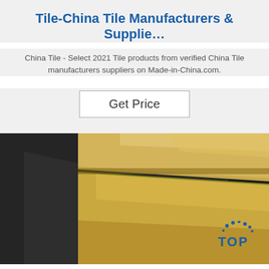Tile-China Tile Manufacturers & Supplie…
China Tile - Select 2021 Tile products from verified China Tile manufacturers suppliers on Made-in-China.com.
Get Price
[Figure (photo): Photo of gold/brass metallic tiles or sheets stacked on a dark surface, with a TOP logo watermark in the bottom right corner.]